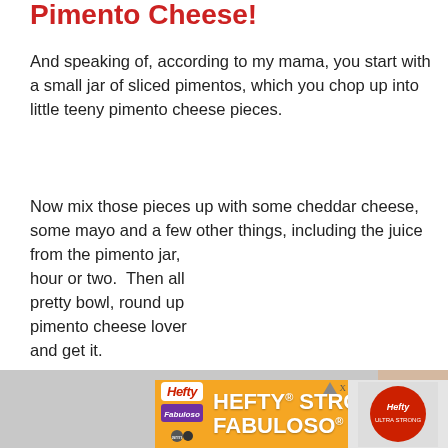Pimento Cheese!
And speaking of, according to my mama, you start with a small jar of sliced pimentos, which you chop up into little teeny pimento cheese pieces.
Now mix those pieces up with some cheddar cheese, some mayo and a few other things, including the juice from the pimento jar, hour or two. Then all pretty bowl, round up pimento cheese lover and get it.
[Figure (photo): Partial photo of a gray surface with a hand visible on the right side, partially obscured]
[Figure (infographic): Hefty advertisement banner: orange background with Hefty and Fabuloso logos, text reading HEFTY STRONG, FABULOSO FRESH]